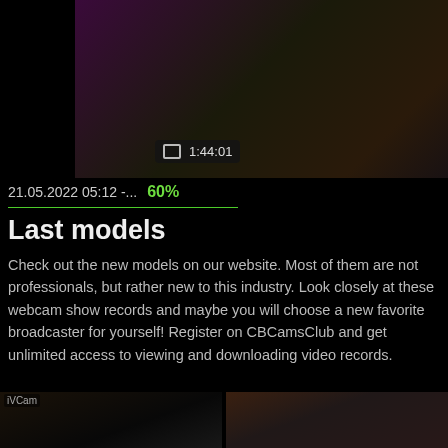[Figure (photo): Webcam show thumbnail with timestamp overlay showing 1:44:01]
21.05.2022 05:12 -...  60%
Last models
Check out the new models on our website. Most of them are not professionals, but rather new to this industry. Look closely at these webcam show records and maybe you will choose a new favorite broadcaster for yourself! Register on CBCamsClub and get unlimited access to viewing and downloading video records.
[Figure (photo): Webcam thumbnail with iVCam watermark showing hands]
[Figure (photo): Webcam thumbnail showing person]